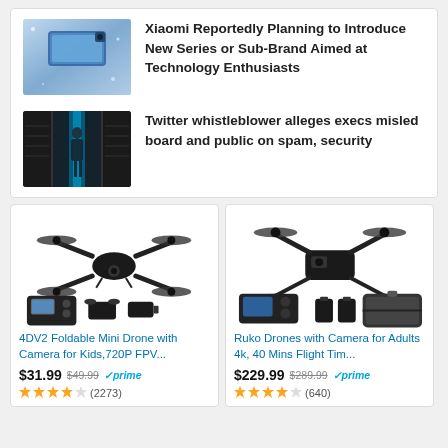[Figure (photo): Xiaomi phone lying on glittery surface]
Xiaomi Reportedly Planning to Introduce New Series or Sub-Brand Aimed at Technology Enthusiasts
[Figure (photo): Dark data center corridor with blue glowing light and a person silhouette]
Twitter whistleblower alleges execs misled board and public on spam, security
[Figure (photo): 4DV2 Foldable Mini Drone with camera and accessories]
4DV2 Foldable Mini Drone with Camera for Kids,720P FPV...
$31.99 $49.99 prime (2273)
[Figure (photo): Ruko drone with camera, batteries and carry case]
Ruko Drones with Camera for Adults 4k, 40 Mins Flight Tim...
$229.99 $289.99 prime (640)